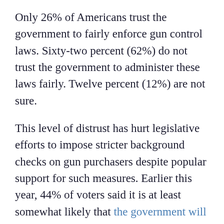Only 26% of Americans trust the government to fairly enforce gun control laws. Sixty-two percent (62%) do not trust the government to administer these laws fairly. Twelve percent (12%) are not sure.
This level of distrust has hurt legislative efforts to impose stricter background checks on gun purchasers despite popular support for such measures. Earlier this year, 44% of voters said it is at least somewhat likely that the government will try to confiscate all privately owned guns over the next generation or so, with 20% who think it is Very Likely.